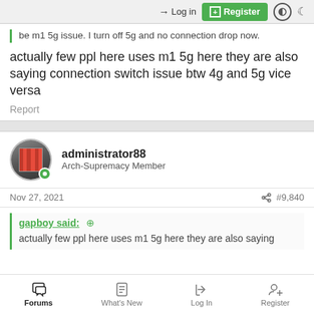Log in | Register
be m1 5g issue. I turn off 5g and no connection drop now.
actually few ppl here uses m1 5g here they are also saying connection switch issue btw 4g and 5g vice versa
Report
administrator88
Arch-Supremacy Member
Nov 27, 2021  #9,840
gapboy said:
actually few ppl here uses m1 5g here they are also saying
Forums  What's New  Log In  Register